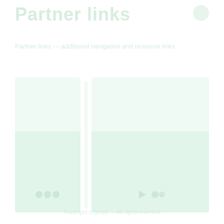Partner links
Partner links with additional navigation information
[Figure (screenshot): Two faint green-tinted card panels side by side, each containing ghosted image placeholders and social/share icons at the bottom, rendered in very light mint/white tones]
Copyright © [year] All rights reserved